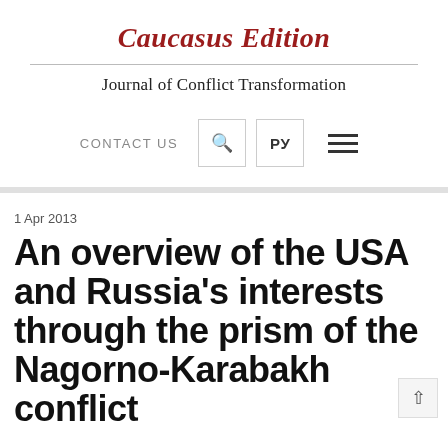Caucasus Edition
Journal of Conflict Transformation
CONTACT US | РУ | ☰
1 Apr 2013
An overview of the USA and Russia's interests through the prism of the Nagorno-Karabakh conflict